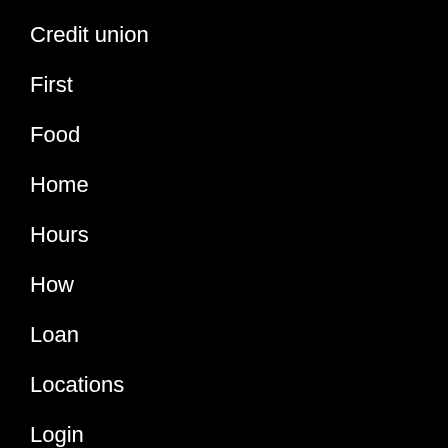Credit union
First
Food
Home
Hours
How
Loan
Locations
Login
Mortgage